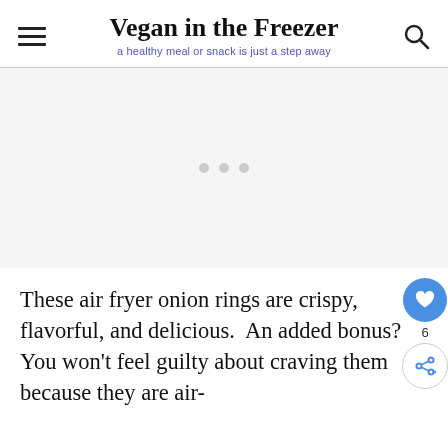Vegan in the Freezer — a healthy meal or snack is just a step away
[Figure (other): Advertisement placeholder with three grey dots]
These air fryer onion rings are crispy, flavorful, and delicious.  An added bonus? You won't feel guilty about craving them because they are air-